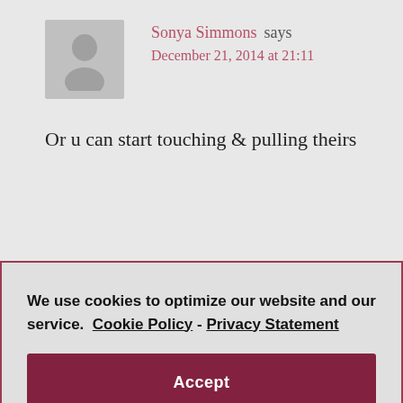Sonya Simmons says
December 21, 2014 at 21:11
Or u can start touching & pulling theirs
We use cookies to optimize our website and our service.  Cookie Policy  -  Privacy Statement
Accept
Reply